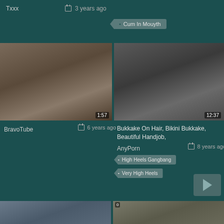Txxx
3 years ago
Cum In Mouyth
[Figure (photo): Adult video thumbnail left, duration 1:57]
[Figure (photo): Adult video thumbnail right, duration 12:37]
BravoTube
6 years ago
Bukkake On Hair, Bikini Bukkake, Beautiful Handjob,
AnyPorn
8 years ago
High Heels Gangbang
Very High Heels
[Figure (photo): Adult video thumbnail bottom left]
[Figure (photo): Adult video thumbnail bottom right]